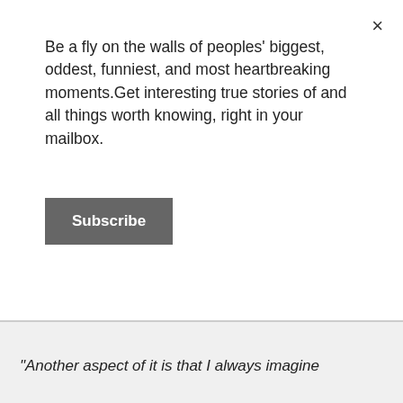Be a fly on the walls of peoples' biggest, oddest, funniest, and most heartbreaking moments.Get interesting true stories of and all things worth knowing, right in your mailbox.
Subscribe
×
"Another aspect of it is that I always imagine